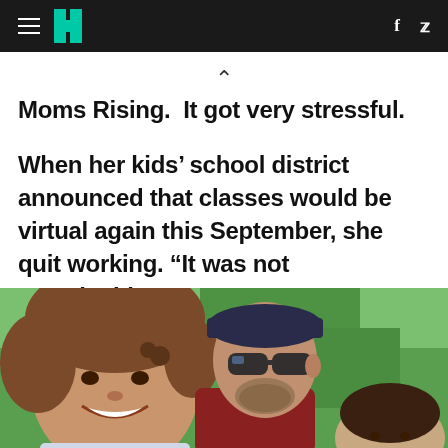HuffPost navigation header with hamburger menu, HuffPost logo, Facebook and Twitter icons
Moms Rising.  “It got very stressful.
When her kids’ school district announced that classes would be virtual again this September, she quit working. “It was not sustainable.”
[Figure (photo): Family photo showing a smiling woman with curly auburn hair in foreground (selfie-style), a man with sunglasses and a beard wearing a dark red shirt behind her, and a young child partially visible at bottom right. Green grassy background outdoors.]